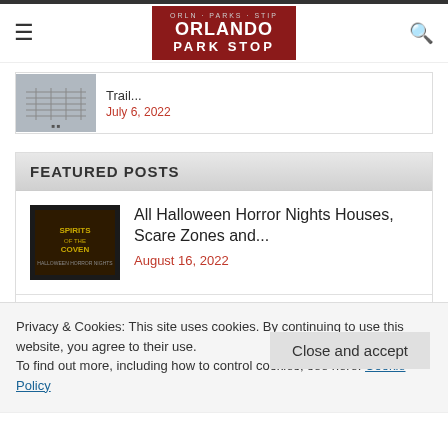Orlando Park Stop
[Figure (screenshot): Thumbnail of a schedule or map image]
Trail...
July 6, 2022
FEATURED POSTS
[Figure (photo): Spirits of the Coven Halloween Horror Nights promotional image]
All Halloween Horror Nights Houses, Scare Zones and...
August 16, 2022
[Figure (photo): Epic Universe roller coaster promotional image]
All Roller Coasters Rumored for Epic Universe
Privacy & Cookies: This site uses cookies. By continuing to use this website, you agree to their use.
To find out more, including how to control cookies, see here: Cookie Policy
Close and accept